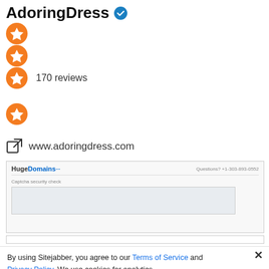AdoringDress
[Figure (infographic): Three orange star rating icons stacked vertically, with '170 reviews' text next to the third star]
[Figure (infographic): Single orange star rating icon]
www.adoringdress.com
[Figure (screenshot): Screenshot of HugeDomains website showing a Captcha security check page with a grey CAPTCHA box. Header shows HugeDomains logo and phone number +1-303-893-0552]
By using Sitejabber, you agree to our Terms of Service and Privacy Policy. We use cookies for analytics, personalization, and ads.